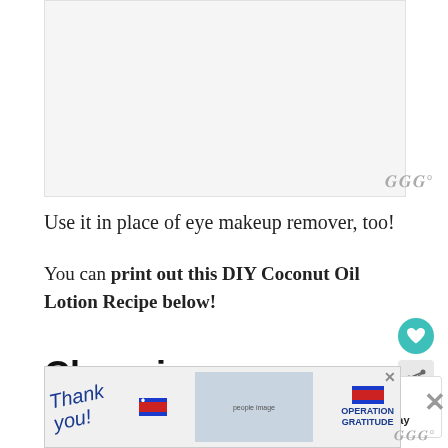[Figure (photo): Image placeholder at the top of the article page]
Use it in place of eye makeup remover, too!
You can print out this DIY Coconut Oil Lotion Recipe below!
Choosing Coconut Oil for Body Lotion
[Figure (infographic): What's Next panel showing Homemade Dusting Spray with thumbnail image]
[Figure (photo): Operation Gratitude advertisement banner with thank you image and people]